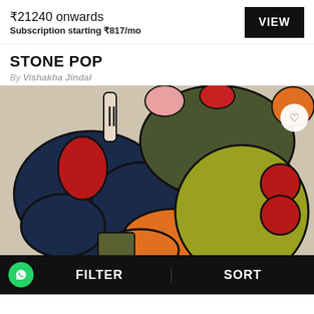₹21240 onwards
Subscription starting ₹817/mo
VIEW
STONE POP
By Vishakha Jindal
[Figure (illustration): Colorful abstract pop art design with bold shapes in dark navy blue, olive green, red/crimson, orange, and yellow-green on a beige/cream background. Includes circular and organic blob shapes with thick dark outlines. A white circle with a heart icon is visible in the top right corner.]
FILTER
SORT